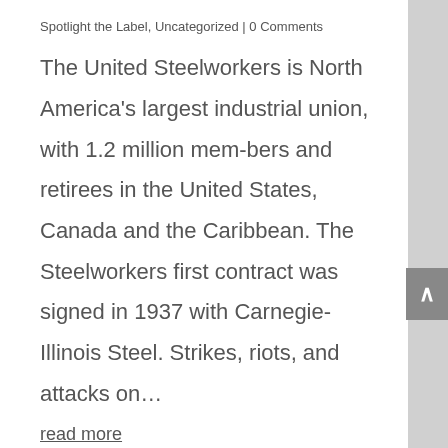Spotlight the Label, Uncategorized | 0 Comments
The United Steelworkers is North America's largest industrial union, with 1.2 million mem-bers and retirees in the United States, Canada and the Caribbean. The Steelworkers first contract was signed in 1937 with Carnegie-Illinois Steel. Strikes, riots, and attacks on…
read more